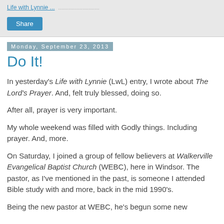Life with Lynnie ...
Share
Monday, September 23, 2013
Do It!
In yesterday's Life with Lynnie (LwL) entry, I wrote about The Lord's Prayer.  And, felt truly blessed, doing so.
After all, prayer is very important.
My whole weekend was filled with Godly things.  Including prayer.  And, more.
On Saturday, I joined a group of fellow believers at Walkerville Evangelical Baptist Church (WEBC), here in Windsor.  The pastor, as I've mentioned in the past, is someone I attended Bible study with and more, back in the mid 1990's.
Being the new pastor at WEBC, he's begun some new